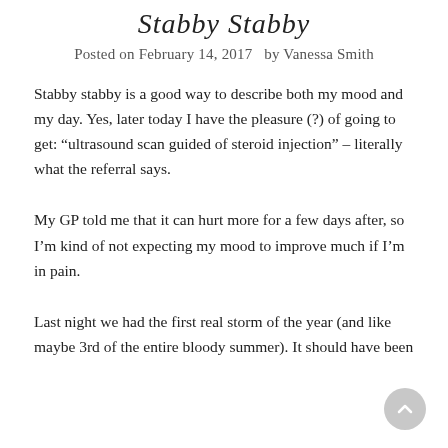Stabby Stabby
Posted on February 14, 2017  by Vanessa Smith
Stabby stabby is a good way to describe both my mood and my day. Yes, later today I have the pleasure (?) of going to get: “ultrasound scan guided of steroid injection” – literally what the referral says.
My GP told me that it can hurt more for a few days after, so I’m kind of not expecting my mood to improve much if I’m in pain.
Last night we had the first real storm of the year (and like maybe 3rd of the entire bloody summer). It should have been